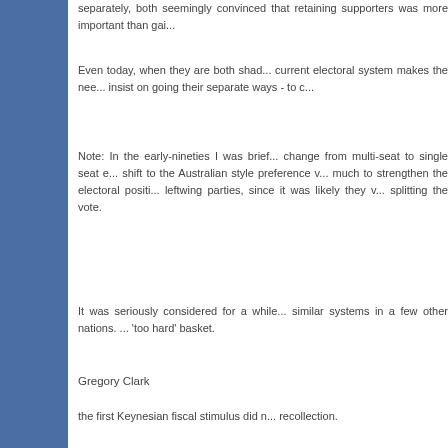separately, both seemingly convinced that retaining supporters was more important than gai...
Even today, when they are both shad... current electoral system makes the nee... insist on going their separate ways - to c...
Note: In the early-nineties I was brief... change from multi-seat to single seat e... shift to the Australian style preference v... much to strengthen the electoral positi... leftwing parties, since it was likely they ... splitting the vote.
It was seriously considered for a while... similar systems in a few other nations. ... 'too hard' basket.
Gregory Clark
the first Keynesian fiscal stimulus did n... recollection.